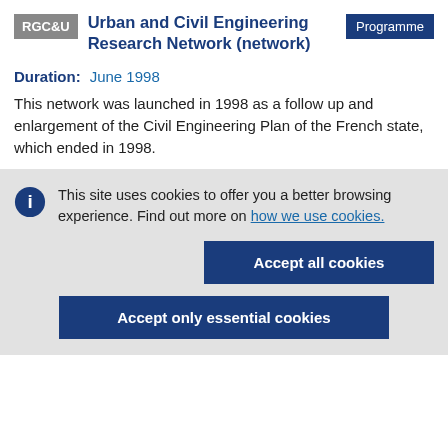RGC&U | Urban and Civil Engineering Research Network (network) | Programme
Duration: June 1998
This network was launched in 1998 as a follow up and enlargement of the Civil Engineering Plan of the French state, which ended in 1998.
This site uses cookies to offer you a better browsing experience. Find out more on how we use cookies.
Accept all cookies
Accept only essential cookies